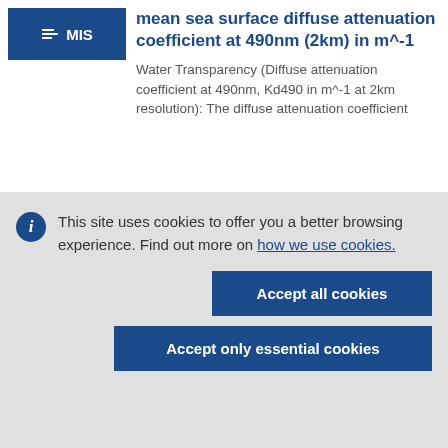[Figure (logo): Blue rectangle box with 'MIS' label and small icon]
mean sea surface diffuse attenuation coefficient at 490nm (2km) in m^-1
Water Transparency (Diffuse attenuation coefficient at 490nm, Kd490 in m^-1 at 2km resolution): The diffuse attenuation coefficient
This site uses cookies to offer you a better browsing experience. Find out more on how we use cookies.
Accept all cookies
Accept only essential cookies